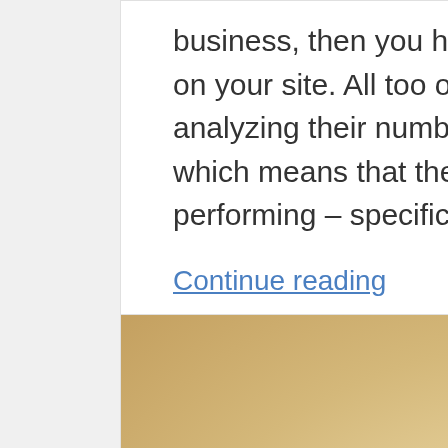business, then you have to track a variety of metrics on your site. All too often, entrepreneurs aren't analyzing their numbers as carefully as they should, which means that they don't know how well they're performing – specifically, what's working […]
Continue reading
| Chris Mason | Categories ↓ |
| --- | --- |
[Figure (photo): A blurred warm-toned beige and tan image, likely a decorative or featured blog post image with soft golden hues.]